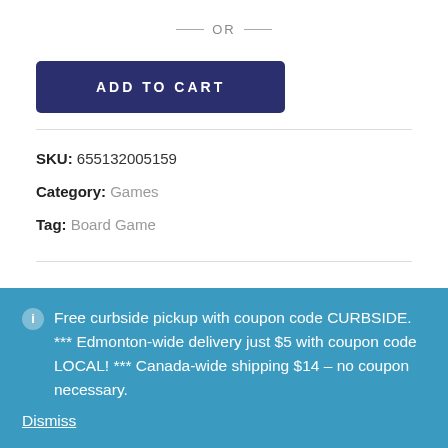— OR —
ADD TO CART
SKU: 655132005159
Category: Games
Tag: Board Game
Free curbside pickup with coupon code CURBSIDE. *** Edmonton-wide delivery just $5 with coupon code LOCAL! *** Canada-wide shipping $14 – no coupon necessary.
Dismiss